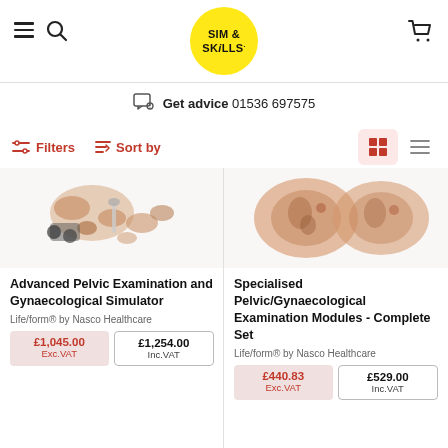SIM & SKILLS
Get advice  01536 697575
Filters  Sort by
[Figure (photo): Product photo of Advanced Pelvic Examination and Gynaecological Simulator showing multiple anatomical components and tools]
Advanced Pelvic Examination and Gynaecological Simulator
Life/form® by Nasco Healthcare
£1,045.00 Exc.VAT  £1,254.00 Inc.VAT
[Figure (photo): Product photo of Specialised Pelvic/Gynaecological Examination Modules showing anatomical ear-shaped modules]
Specialised Pelvic/Gynaecological Examination Modules - Complete Set
Life/form® by Nasco Healthcare
£440.83 Exc.VAT  £529.00 Inc.VAT